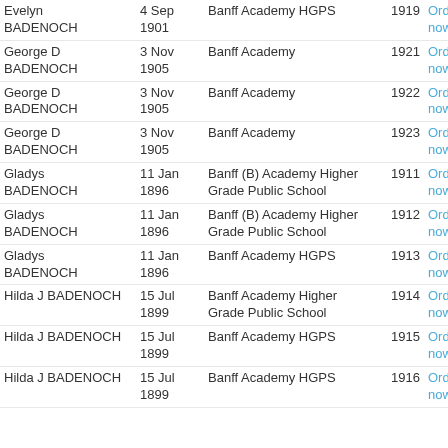| Name | Date | School | Year | Order |
| --- | --- | --- | --- | --- |
| Evelyn BADENOCH | 4 Sep 1901 | Banff Academy HGPS | 1919 | Order now |
| George D BADENOCH | 3 Nov 1905 | Banff Academy | 1921 | Order now |
| George D BADENOCH | 3 Nov 1905 | Banff Academy | 1922 | Order now |
| George D BADENOCH | 3 Nov 1905 | Banff Academy | 1923 | Order now |
| Gladys BADENOCH | 11 Jan 1896 | Banff (B) Academy Higher Grade Public School | 1911 | Order now |
| Gladys BADENOCH | 11 Jan 1896 | Banff (B) Academy Higher Grade Public School | 1912 | Order now |
| Gladys BADENOCH | 11 Jan 1896 | Banff Academy HGPS | 1913 | Order now |
| Hilda J BADENOCH | 15 Jul 1899 | Banff Academy Higher Grade Public School | 1914 | Order now |
| Hilda J BADENOCH | 15 Jul 1899 | Banff Academy HGPS | 1915 | Order now |
| Hilda J BADENOCH | 15 Jul 1899 | Banff Academy HGPS | 1916 | Order now |